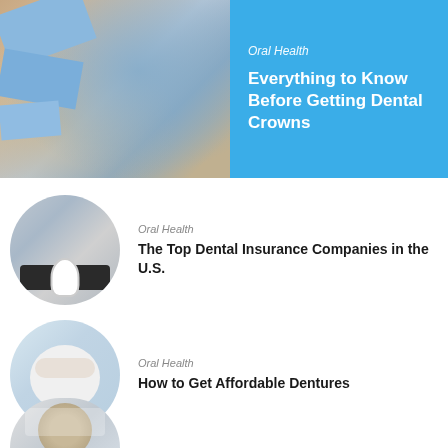[Figure (photo): Hero banner with two sections: left shows a dental professional in blue gloves holding dental equipment, right is a blue background with article title text.]
Oral Health
Everything to Know Before Getting Dental Crowns
[Figure (photo): Circular photo of a person at a desk with a calculator and a tooth model, representing dental insurance.]
Oral Health
The Top Dental Insurance Companies in the U.S.
[Figure (photo): Circular photo showing dental dentures being held, representing affordable dentures article.]
Oral Health
How to Get Affordable Dentures
[Figure (photo): Partially visible circular photo of a person (doctor/dentist) at the bottom of the page.]